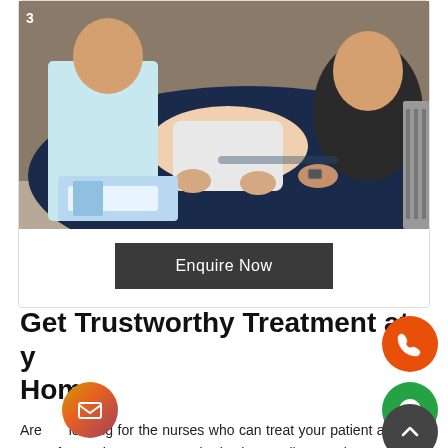[Figure (photo): Medical home care scene: a patient lying on a dark navy blue blanket/bed, with two healthcare workers attending to them. Medical supplies including blue gloves and materials visible in the foreground.]
Enquire Now
Get Trustworthy Treatment at your Home
Are you looking for the nurses who can treat your patient at home too? If yes, then Care Oxy is the best online service provider of Medical Home Care in Noida Sec 50. We offer trustworthy treatment to our patients, so you can browse our website and get